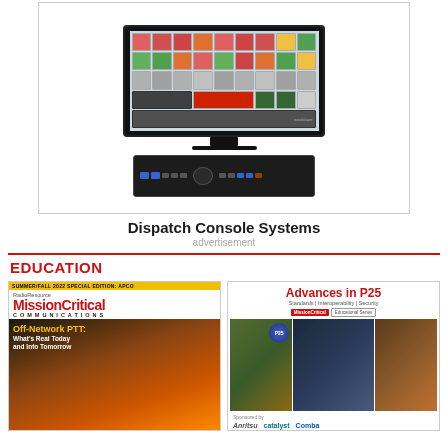[Figure (illustration): Advertisement showing a dispatch console system: a large monitor displaying colorful dispatch software interface on top, with a rack-mounted hardware unit below it. Text reads 'Dispatch Console Systems'.]
advertisement
EDUCATION
[Figure (photo): RadioResource MissionCritical Communications magazine cover, Summer/Fall 2022 Special Edition: APCO. Feature article: 'Off-Network PTT: What's Real Today and Into Tomorrow'. Background shows fire/forest scene.]
[Figure (illustration): Advances in P25: Standards | Interoperability | Security. MissionCritical Educational Series booklet cover. Shows P25 badge logo and three photos of emergency responders. Sponsored by Anritsu, Catalyst, Comba.]